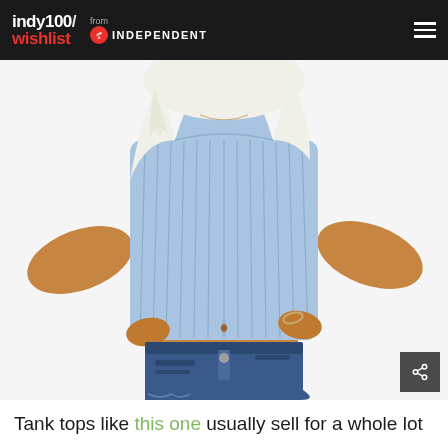indy100/wishlist from INDEPENDENT
[Figure (photo): A woman wearing a light blue ribbed knit crop tank top and distressed denim cut-off shorts, with blonde hair, posing with hands on hips against a white background.]
Tank tops like this one usually sell for a whole lot